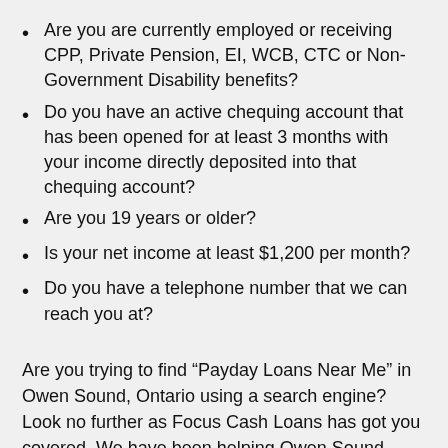Are you are currently employed or receiving CPP, Private Pension, EI, WCB, CTC or Non-Government Disability benefits?
Do you have an active chequing account that has been opened for at least 3 months with your income directly deposited into that chequing account?
Are you 19 years or older?
Is your net income at least $1,200 per month?
Do you have a telephone number that we can reach you at?
Are you trying to find “Payday Loans Near Me” in Owen Sound, Ontario using a search engine? Look no further as Focus Cash Loans has got you covered. We have been helping Owen Sound residents with their short term loan needs since 2008. Unlike other lenders, we provide same day online e-transfer payday loans in Canada 24/7 with no credit check and instant approval. You will receive your online